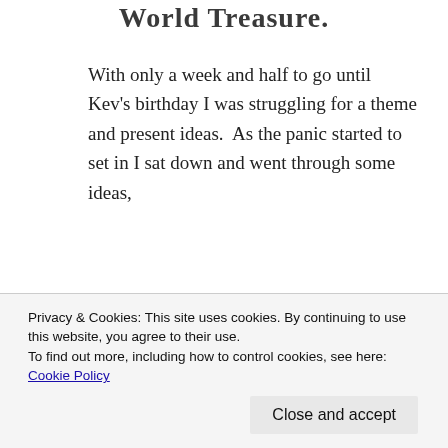World Treasure.
With only a week and half to go until Kev’s birthday I was struggling for a theme and present ideas.  As the panic started to set in I sat down and went through some ideas, browsing through office…
Privacy & Cookies: This site uses cookies. By continuing to use this website, you agree to their use.
To find out more, including how to control cookies, see here: Cookie Policy
Close and accept